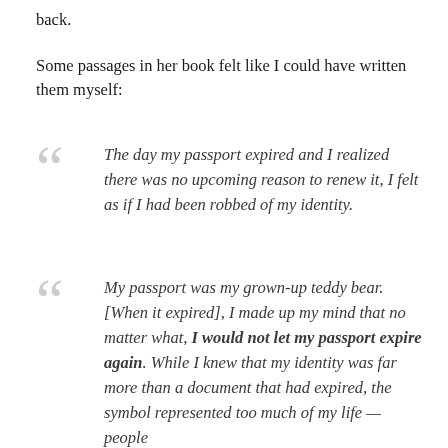back.
Some passages in her book felt like I could have written them myself:
The day my passport expired and I realized there was no upcoming reason to renew it, I felt as if I had been robbed of my identity.
My passport was my grown-up teddy bear. [When it expired], I made up my mind that no matter what, I would not let my passport expire again. While I knew that my identity was far more than a document that had expired, the symbol represented too much of my life — people